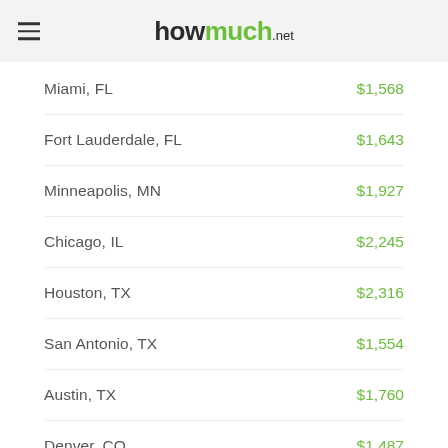howmuch.net
Miami, FL — $1,568
Fort Lauderdale, FL — $1,643
Minneapolis, MN — $1,927
Chicago, IL — $2,245
Houston, TX — $2,316
San Antonio, TX — $1,554
Austin, TX — $1,760
Denver, CO — $1,487